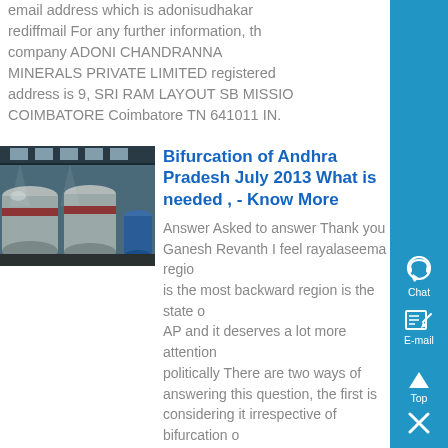email address which is adonisudhakar rediffmail For any further information, the company ADONI CHANDRANNA MINERALS PRIVATE LIMITED registered address is 9, SRI RAM LAYOUT SB MISSION COIMBATORE Coimbatore TN 641011 IN.
[Figure (photo): Industrial or mining facility interior with large cylindrical tanks or pipes, dim lighting from overhead skylights]
Bifurcation of Andhra Pradesh July 2013 What is needed , - Know More
Answer Asked to answer Thank you Ganesh Revanth I feel rayalaseema region is the most backward region is the state of AP and it deserves a lot more attention politically There are two ways of answering this question, the first is considering it irrespective of bifurcation of the stateThe ans....